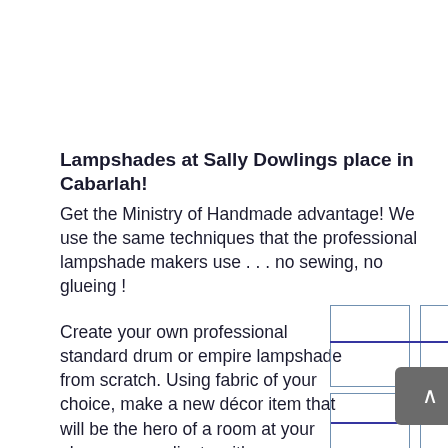Lampshades at Sally Dowlings place in Cabarlah!
Get the Ministry of Handmade advantage! We use the same techniques that the professional lampshade makers use . . . no sewing, no glueing !
Create your own professional standard drum or empire lampshade from scratch. Using fabric of your choice, make a new décor item that will be the hero of a room at your place or co-ordinate with
[Figure (illustration): Two rows of lampshade diagrams (rectangular cross-sections with a horizontal line through the middle representing the lampshade frame), with a scroll-up button overlapping the second row.]